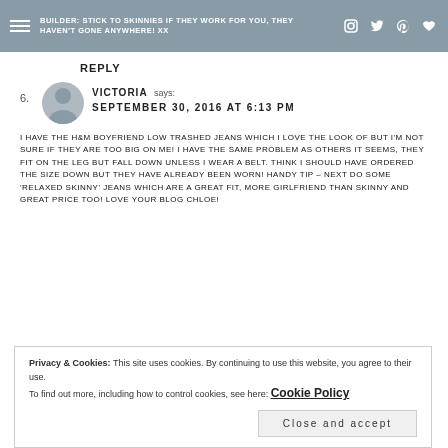BUILDER: STICK TO SKINNIES IF THEY WORK FOR YOU, THEY HAVEN'T GONE ANYWHERE! XX
REPLY
6. VICTORIA says: SEPTEMBER 30, 2016 AT 6:13 PM
I HAVE THE H&M BOYFRIEND LOW TRASHED JEANS WHICH I LOVE THE LOOK OF BUT I'M NOT SURE IF THEY ARE TOO BIG ON ME! I HAVE THE SAME PROBLEM AS OTHERS IT SEEMS, THEY FIT ON THE LEG BUT FALL DOWN UNLESS I WEAR A BELT. THINK I SHOULD HAVE ORDERED THE SIZE DOWN BUT THEY HAVE ALREADY BEEN WORN! HANDY TIP – NEXT DO SOME 'RELAXED SKINNY' JEANS WHICH ARE A GREAT FIT, MORE GIRLFRIEND THAN SKINNY AND GREAT PRICE TOO! LOVE YOUR BLOG CHLOE!
Privacy & Cookies: This site uses cookies. By continuing to use this website, you agree to their use. To find out more, including how to control cookies, see here: Cookie Policy
Close and accept